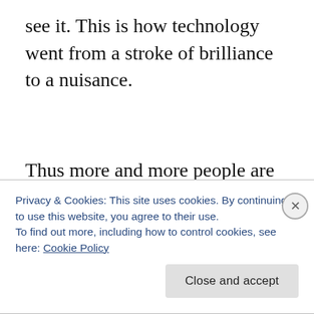see it. This is how technology went from a stroke of brilliance to a nuisance.
Thus more and more people are disconnecting from social media altogether. Sad, but it is true. All of that just so Facebook could go public and increase profits. I suspect that in the long run Facebook will eventually go the way of Myspace. Haven't really seen or heard of too many people
Privacy & Cookies: This site uses cookies. By continuing to use this website, you agree to their use.
To find out more, including how to control cookies, see here: Cookie Policy
Close and accept